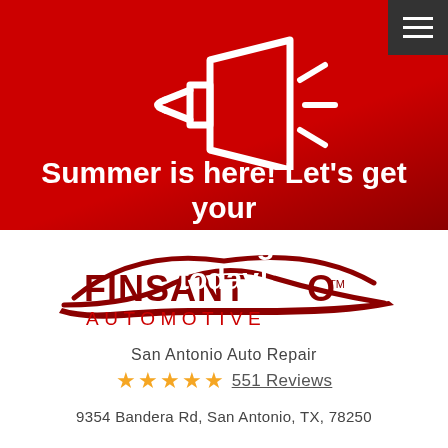[Figure (illustration): Megaphone icon in white outline on a red gradient background]
Summer is here! Let's get your air conditioning working today!
[Figure (logo): Finsanto Automotive logo with car silhouette in dark red/maroon]
San Antonio Auto Repair
★★★★★ 551 Reviews
9354 Bandera Rd, San Antonio, TX, 78250